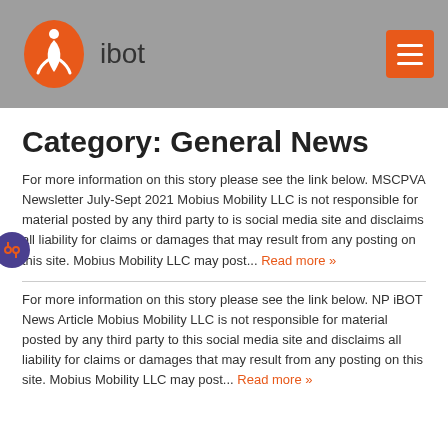ibot
Category: General News
For more information on this story please see the link below. MSCPVA Newsletter July-Sept 2021 Mobius Mobility LLC is not responsible for material posted by any third party to is social media site and disclaims all liability for claims or damages that may result from any posting on this site. Mobius Mobility LLC may post... Read more »
For more information on this story please see the link below. NP iBOT News Article Mobius Mobility LLC is not responsible for material posted by any third party to this social media site and disclaims all liability for claims or damages that may result from any posting on this site. Mobius Mobility LLC may post... Read more »